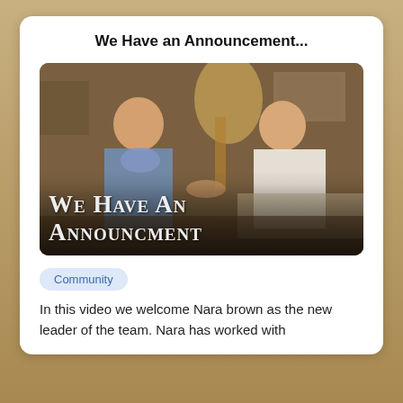We Have an Announcement...
[Figure (photo): Two women sitting together in a warmly lit living room, smiling and exchanging something. Overlay text reads WE HAVE AN ANNOUNCMENT in large serif small-caps font.]
Community
In this video we welcome Nara brown as the new leader of the team. Nara has worked with